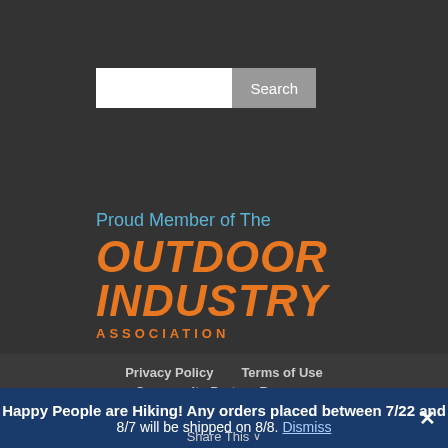Search
[Figure (logo): Outdoor Industry Association logo with text 'Proud Member of The OUTDOOR INDUSTRY ASSOCIATION']
Privacy Policy   Terms of Use   Community Partner Program
Happy People are Hiking! Any orders placed between 7/22 and 8/7 will be shipped on 8/8. Dismiss
Share This